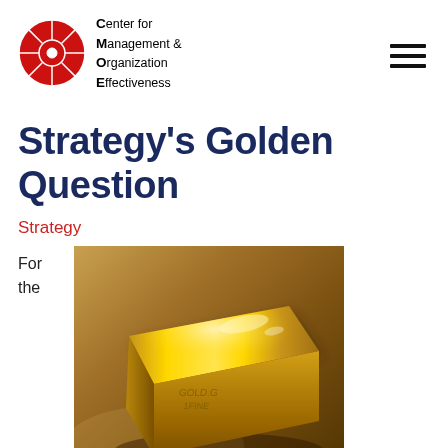Center for Management & Organization Effectiveness
Strategy's Golden Question
Strategy
For the
[Figure (photo): A gold bar/ingot resting on a golden-brown surface, photographed close-up with warm lighting highlighting the shiny metallic surface and engraved markings.]